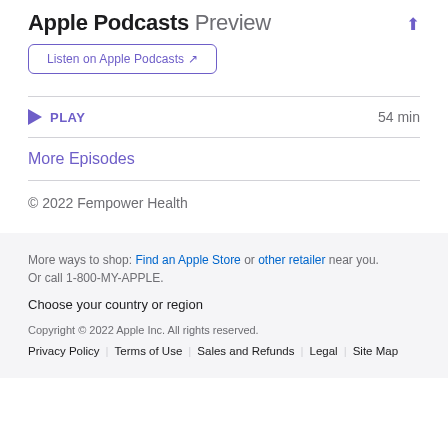Apple Podcasts Preview
Listen on Apple Podcasts ↗
▶ PLAY   54 min
More Episodes
© 2022 Fempower Health
More ways to shop: Find an Apple Store or other retailer near you. Or call 1-800-MY-APPLE.
Choose your country or region
Copyright © 2022 Apple Inc. All rights reserved.
Privacy Policy | Terms of Use | Sales and Refunds | Legal | Site Map